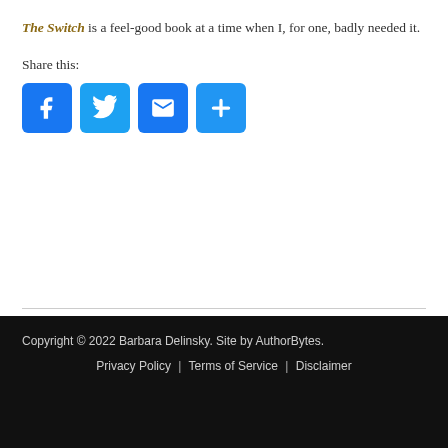The Switch is a feel-good book at a time when I, for one, badly needed it.
Share this:
[Figure (other): Social sharing buttons: Facebook, Twitter, Email, More (+)]
← The Patron Saint of Pregnant Girls
The Exiles →
Copyright © 2022 Barbara Delinsky. Site by AuthorBytes. | Privacy Policy | Terms of Service | Disclaimer